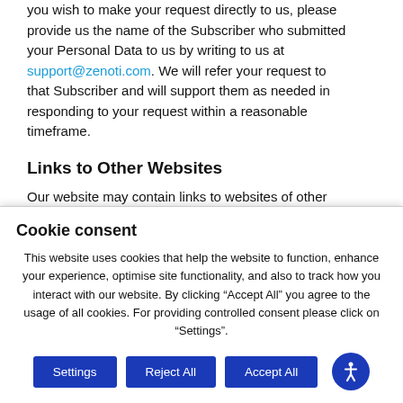you wish to make your request directly to us, please provide us the name of the Subscriber who submitted your Personal Data to us by writing to us at support@zenoti.com. We will refer your request to that Subscriber and will support them as needed in responding to your request within a reasonable timeframe.
Links to Other Websites
Our website may contain links to websites of other organizations. This privacy notice does not cover how those organizations process your Personal Data. We encourage you to read the privacy policies on the other websites you visit.
Cookie consent
This website uses cookies that help the website to function, enhance your experience, optimise site functionality, and also to track how you interact with our website. By clicking "Accept All" you agree to the usage of all cookies. For providing controlled consent please click on "Settings".